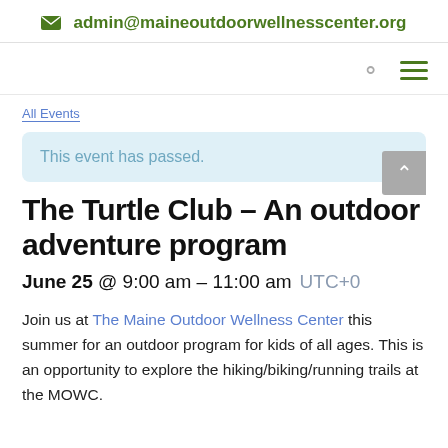✉ admin@maineoutdoorwellnesscenter.org
All Events
This event has passed.
The Turtle Club – An outdoor adventure program
June 25 @ 9:00 am – 11:00 am UTC+0
Join us at The Maine Outdoor Wellness Center this summer for an outdoor program for kids of all ages. This is an opportunity to explore the hiking/biking/running trails at the MOWC.